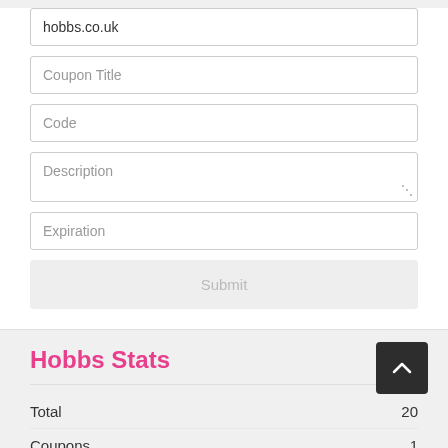hobbs.co.uk
Coupon Title
Code
Description
Expiration
Submit
Hobbs Stats
|  |  |
| --- | --- |
| Total | 20 |
| Coupons | 1 |
| Deals | 19 |
| Max Discount | 70% |